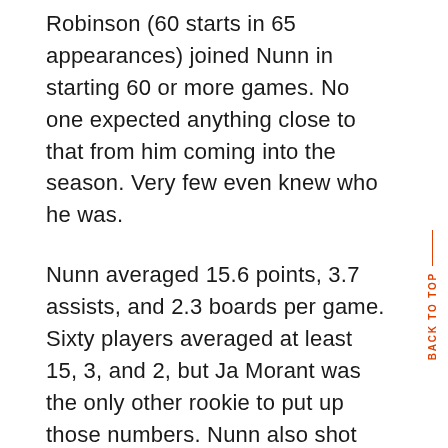Robinson (60 starts in 65 appearances) joined Nunn in starting 60 or more games. No one expected anything close to that from him coming into the season. Very few even knew who he was.
Nunn averaged 15.6 points, 3.7 assists, and 2.3 boards per game. Sixty players averaged at least 15, 3, and 2, but Ja Morant was the only other rookie to put up those numbers. Nunn also shot 36.2% from deep on 5.8 attempts per game. Only thirty-one of those sixty players, including Morant, also shot 36% or better from deep, and Nunn was 20th in that group in attempts per game.
Among all rookies, Nunn was…